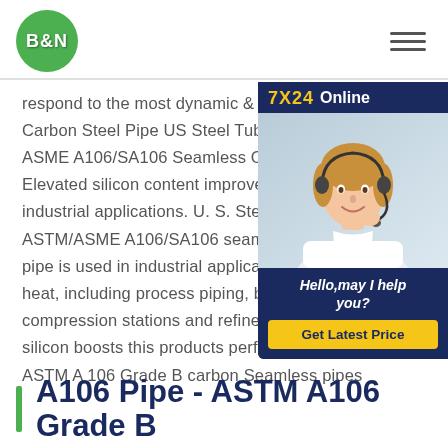B&N
[Figure (photo): 7X24 Online chat widget with customer service representative wearing a headset, with 'Hello,may I help you?' text and 'Get Latest Price' button]
respond to the most dynamic & A106 S Carbon Steel Pipe US Steel Tubular Pr ASME A106/SA106 Seamless Carbon Elevated silicon content improves heat industrial applications. U. S. Steel Tubu ASTM/ASME A106/SA106 seamless c pipe is used in industrial applications in heat, including process piping, boiling plants, compression stations and refineries.The additional silicon boosts this products performance small size ASTM A 106 Grade B carbon Seamless pipes
A106 Pipe - ASTM A106 Grade B